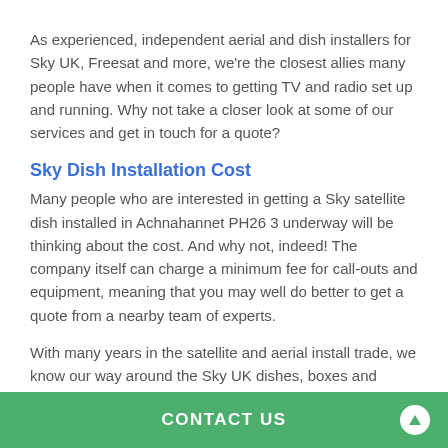As experienced, independent aerial and dish installers for Sky UK, Freesat and more, we're the closest allies many people have when it comes to getting TV and radio set up and running. Why not take a closer look at some of our services and get in touch for a quote?
Sky Dish Installation Cost
Many people who are interested in getting a Sky satellite dish installed in Achnahannet PH26 3 underway will be thinking about the cost. And why not, indeed! The company itself can charge a minimum fee for call-outs and equipment, meaning that you may well do better to get a quote from a nearby team of experts.
With many years in the satellite and aerial install trade, we know our way around the Sky UK dishes, boxes and equipment. Whether you need a new dish put up or need a box fitting to an older dish, we can help.
CONTACT US